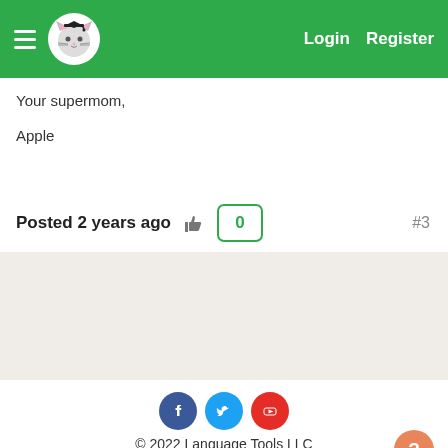Login  Register
Your supermom,
Apple
Posted 2 years ago  👍  0
#3
© 2022 Language Tools LLC